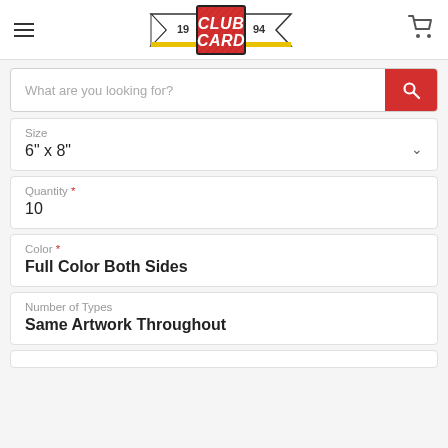[Figure (logo): Club Card Printing logo — red square with 'CLUB CARD' in white italic text, flanked by ribbon banner with '19' and '94']
What are you looking for?
Size
6" x 8"
Quantity *
10
Color *
Full Color Both Sides
Number of Types
Same Artwork Throughout